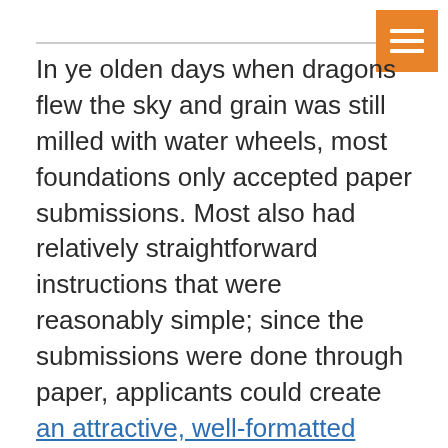In ye olden days when dragons flew the sky and grain was still milled with water wheels, most foundations only accepted paper submissions. Most also had relatively straightforward instructions that were reasonably simple; since the submissions were done through paper, applicants could create an attractive, well-formatted submission document. Today things are different. Amazon delivery drones fly the sky and human-like creatures